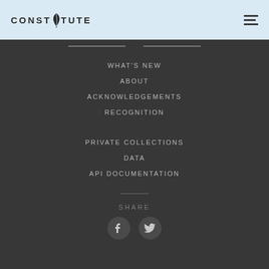CONSTITUTE
WHAT'S NEW
ABOUT
ACKNOWLEDGEMENTS
RECOGNITION
PRIVATE COLLECTIONS
DATA
API DOCUMENTATION
SHARE